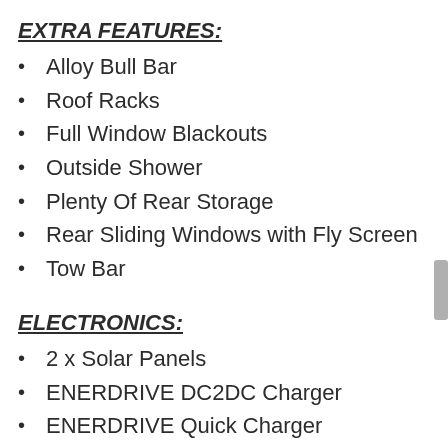EXTRA FEATURES:
Alloy Bull Bar
Roof Racks
Full Window Blackouts
Outside Shower
Plenty Of Rear Storage
Rear Sliding Windows with Fly Screen
Tow Bar
ELECTRONICS:
2 x Solar Panels
ENERDRIVE DC2DC Charger
ENERDRIVE Quick Charger